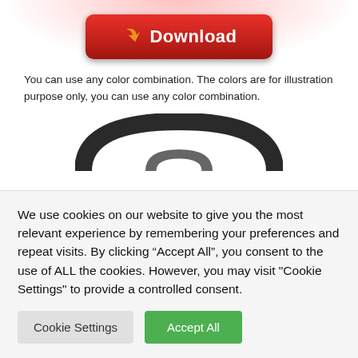[Figure (illustration): Red gradient download button with orange arrow icon and white bold text 'Download']
You can use any color combination. The colors are for illustration purpose only, you can use any color combination.
[Figure (illustration): Partial view of a dark circular logo/icon arc at the bottom of the top section]
We use cookies on our website to give you the most relevant experience by remembering your preferences and repeat visits. By clicking “Accept All”, you consent to the use of ALL the cookies. However, you may visit "Cookie Settings" to provide a controlled consent.
[Figure (illustration): Cookie Settings button (grey) and Accept All button (green)]